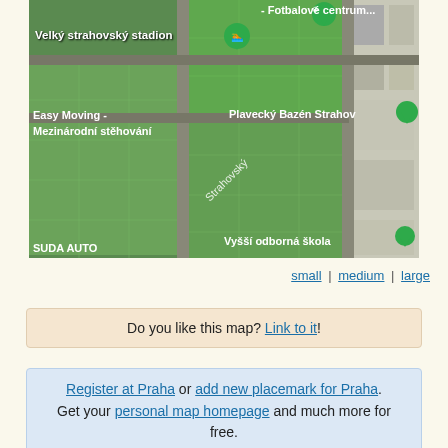[Figure (map): Aerial satellite map of Strahov area in Prague showing large green football/sports fields, labeled locations: Velký strahovský stadion, Fotbalové centrum..., Easy Moving - Mezinárodní stěhování, Plavecký Bazén Strahov, Vyšší odborná škola, SUDA AUTO, Strahovský (street label). Green location pins visible.]
small | medium | large
Do you like this map? Link to it!
Register at Praha or add new placemark for Praha. Get your personal map homepage and much more for free.